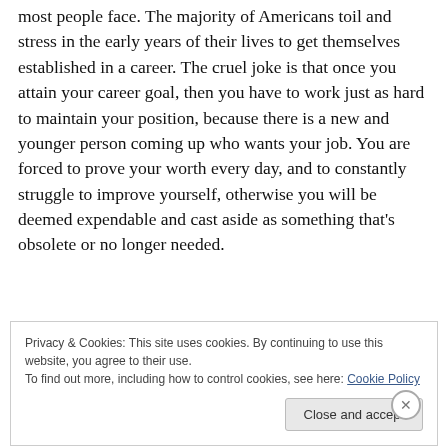most people face. The majority of Americans toil and stress in the early years of their lives to get themselves established in a career. The cruel joke is that once you attain your career goal, then you have to work just as hard to maintain your position, because there is a new and younger person coming up who wants your job. You are forced to prove your worth every day, and to constantly struggle to improve yourself, otherwise you will be deemed expendable and cast aside as something that's obsolete or no longer needed.
Privacy & Cookies: This site uses cookies. By continuing to use this website, you agree to their use. To find out more, including how to control cookies, see here: Cookie Policy